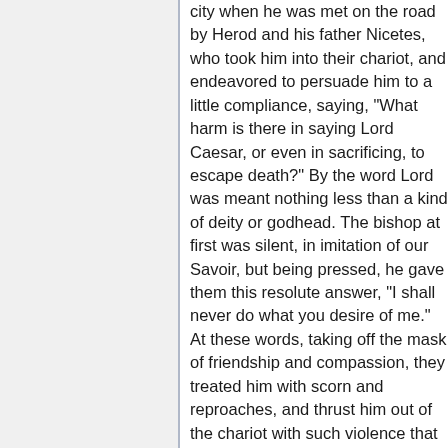city when he was met on the road by Herod and his father Nicetes, who took him into their chariot, and endeavored to persuade him to a little compliance, saying, "What harm is there in saying Lord Caesar, or even in sacrificing, to escape death?" By the word Lord was meant nothing less than a kind of deity or godhead. The bishop at first was silent, in imitation of our Savoir, but being pressed, he gave them this resolute answer, "I shall never do what you desire of me." At these words, taking off the mask of friendship and compassion, they treated him with scorn and reproaches, and thrust him out of the chariot with such violence that his leg was bruised by the fall. The holy man went forward cheerfully to the place where the people were assembled. Upon